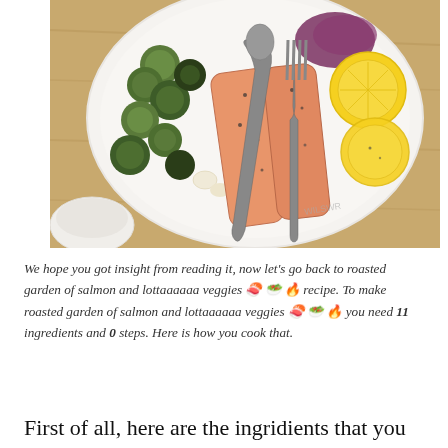[Figure (photo): Overhead photo of a white plate with roasted salmon fillets seasoned with pepper, roasted Brussels sprouts, garlic cloves, and lemon slices, served with a metal spoon and fork, on a wooden table with a small white bowl visible at bottom left.]
We hope you got insight from reading it, now let's go back to roasted garden of salmon and lottaaaaaa veggies 🍣 🥗 🔥 recipe. To make roasted garden of salmon and lottaaaaaa veggies 🍣 🥗 🔥 you need 11 ingredients and 0 steps. Here is how you cook that.
First of all, here are the ingridients that you